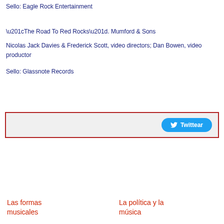Sello: Eagle Rock Entertainment
“The Road To Red Rocks”. Mumford & Sons
Nicolas Jack Davies & Frederick Scott, video directors; Dan Bowen, video productor
Sello: Glassnote Records
[Figure (screenshot): A light gray box with a red border containing a Twitter 'Twittear' button on the right side]
Las formas musicales
La política y la música